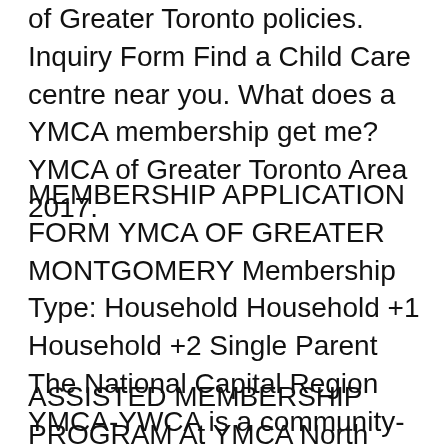of Greater Toronto policies. Inquiry Form Find a Child Care centre near you. What does a YMCA membership get me? YMCA of Greater Toronto Area 2017.
MEMBERSHIP APPLICATION FORM YMCA OF GREATER MONTGOMERY Membership Type: Household Household +1 Household +2 Single Parent The National Capital Region YMCA-YWCA is a community-based Association How to Register for Camp. Click here to download a Financial Assistance Application Form.
ASSISTED MEMBERSHIP PROGRAM At YMCA North Bay, we offer opportunities to all individuals regardless of age, race,